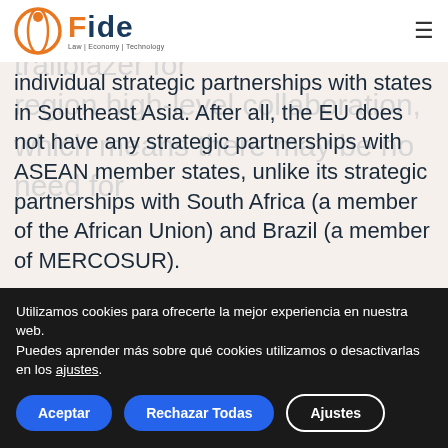FIDE — Law | Economy | Technology
partnership may be a genuine trailblazer for region high-level collaboration, which means there may be no need for individual strategic partnerships with states in Southeast Asia. After all, the EU does not have any strategic partnerships with ASEAN member states, unlike its strategic partnerships with South Africa (a member of the African Union) and Brazil (a member of MERCOSUR).
When the ASEAN-EU strategic partnership
Utilizamos cookies para ofrecerte la mejor experiencia en nuestra web.
Puedes aprender más sobre qué cookies utilizamos o desactivarlas en los ajustes.